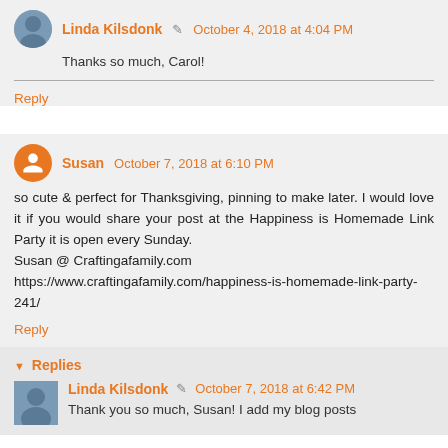Linda Kilsdonk ✏ October 4, 2018 at 4:04 PM
Thanks so much, Carol!
Reply
Susan October 7, 2018 at 6:10 PM
so cute & perfect for Thanksgiving, pinning to make later. I would love it if you would share your post at the Happiness is Homemade Link Party it is open every Sunday.
Susan @ Craftingafamily.com
https://www.craftingafamily.com/happiness-is-homemade-link-party-241/
Reply
Replies
Linda Kilsdonk ✏ October 7, 2018 at 6:42 PM
Thank you so much, Susan! I add my blog posts